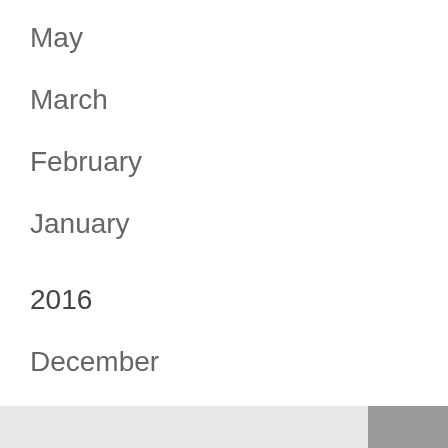May
March
February
January
2016
December
November
October
2010
September
1
April